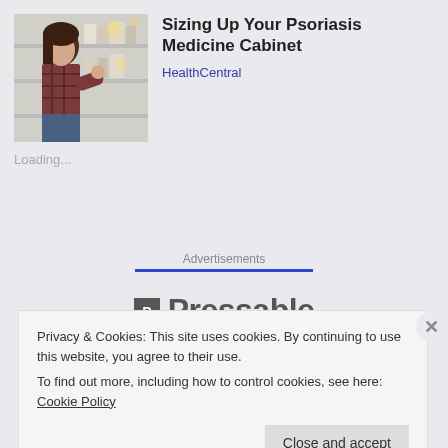[Figure (photo): Woman browsing products on shelves in a pharmacy or store, wearing a plaid shirt, viewed from side angle.]
Sizing Up Your Psoriasis Medicine Cabinet
HealthCentral
Loading...
Advertisements
[Figure (logo): Pressable logo with icon and bold text]
Privacy & Cookies: This site uses cookies. By continuing to use this website, you agree to their use.
To find out more, including how to control cookies, see here: Cookie Policy
Close and accept